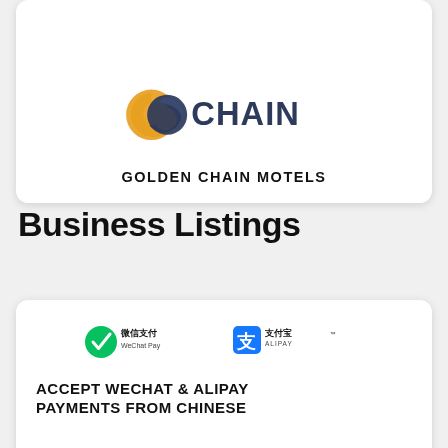[Figure (logo): Golden Chain Motels logo — gold and navy interlinked G and C with text CHAIN]
GOLDEN CHAIN MOTELS
Business Listings
[Figure (logo): WeChat Pay logo and Alipay logo side by side]
ACCEPT WECHAT & ALIPAY PAYMENTS FROM CHINESE